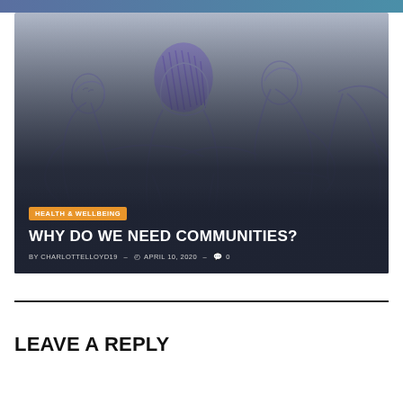[Figure (illustration): Line art illustration of people hugging in a group, drawn in purple/lavender lines on a gray gradient background. Overlaid with a category badge 'HEALTH & WELLBEING', a bold white title 'WHY DO WE NEED COMMUNITIES?', and metadata line 'BY CHARLOTTELLOYD19 - April 10, 2020 - 0 comments'.]
LEAVE A REPLY